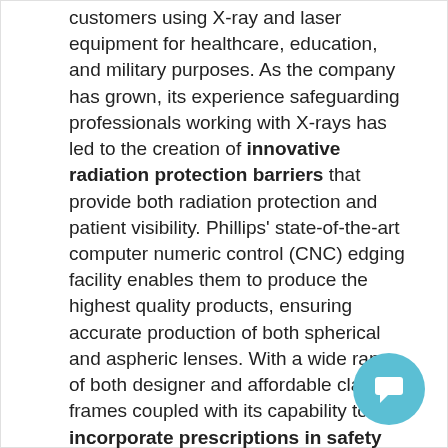customers using X-ray and laser equipment for healthcare, education, and military purposes. As the company has grown, its experience safeguarding professionals working with X-rays has led to the creation of innovative radiation protection barriers that provide both radiation protection and patient visibility. Phillips' state-of-the-art computer numeric control (CNC) edging facility enables them to produce the highest quality products, ensuring accurate production of both spherical and aspheric lenses. With a wide range of both designer and affordable classic frames coupled with its capability to incorporate prescriptions in safety glasses, Phillips Safety stands apart for blending the best and most affordable styles with the necessary safety functions to keep your eyes protected.